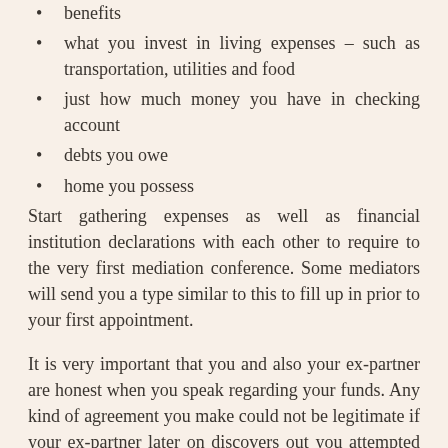benefits
what you invest in living expenses – such as transportation, utilities and food
just how much money you have in checking account
debts you owe
home you possess
Start gathering expenses as well as financial institution declarations with each other to require to the very first mediation conference. Some mediators will send you a type similar to this to fill up in prior to your first appointment.
It is very important that you and also your ex-partner are honest when you speak regarding your funds. Any kind of agreement you make could not be legitimate if your ex-partner later on discovers out you attempted to hide something from them. Your ex-partner might additionally take you to court for a larger share of your money.